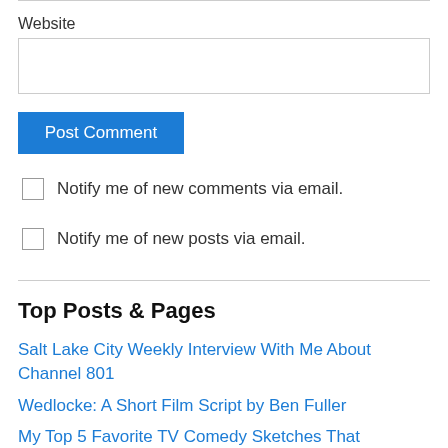Website
Post Comment
Notify me of new comments via email.
Notify me of new posts via email.
Top Posts & Pages
Salt Lake City Weekly Interview With Me About Channel 801
Wedlocke: A Short Film Script by Ben Fuller
My Top 5 Favorite TV Comedy Sketches That Changed My Life (in no particular order)